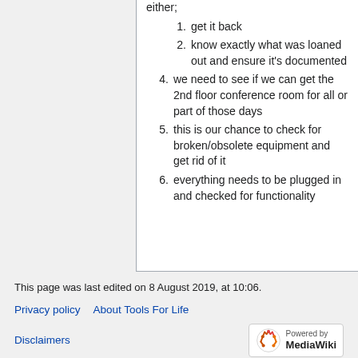either;
1. get it back
2. know exactly what was loaned out and ensure it's documented
4. we need to see if we can get the 2nd floor conference room for all or part of those days
5. this is our chance to check for broken/obsolete equipment and get rid of it
6. everything needs to be plugged in and checked for functionality
This page was last edited on 8 August 2019, at 10:06.
Privacy policy  About Tools For Life
Disclaimers  Powered by MediaWiki